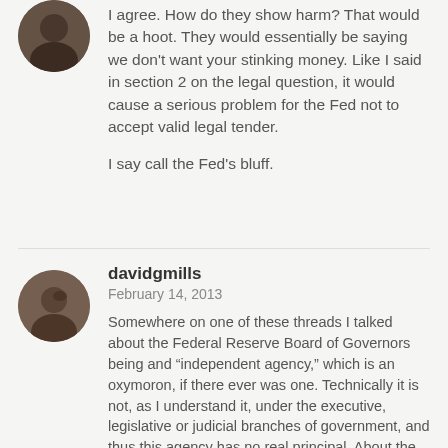[Figure (photo): Circular avatar image of a user, showing a dark/brown toned profile picture]
I agree. How do they show harm? That would be a hoot. They would essentially be saying we don't want your stinking money. Like I said in section 2 on the legal question, it would cause a serious problem for the Fed not to accept valid legal tender.

I say call the Fed's bluff.
[Figure (photo): Circular avatar image of user davidgmills, showing a dark brown toned profile picture]
davidgmills
February 14, 2013
Somewhere on one of these threads I talked about the Federal Reserve Board of Governors being and “independent agency,” which is an oxymoron, if there ever was one. Technically it is not, as I understand it, under the executive, legislative or judicial branches of government, and thus this agency has no real principal. About the only control that I can see that the executive and Congress exerts over it, is the ability to appoint the members of board and to fire the members, and as I understand it, the board members are chosen from approved lists made by the Federal Reserve Banks. But that is hardly the kind of